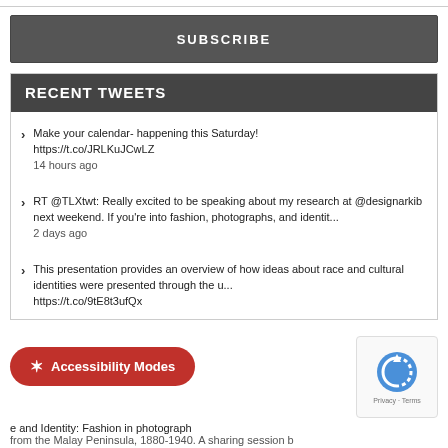SUBSCRIBE
RECENT TWEETS
Make your calendar- happening this Saturday! https://t.co/JRLKuJCwLZ
14 hours ago
RT @TLXtwt: Really excited to be speaking about my research at @designarkib next weekend. If you're into fashion, photographs, and identit...
2 days ago
This presentation provides an overview of how ideas about race and cultural identities were presented through the u... https://t.co/9tE8t3ufQx
e and Identity: Fashion in photograph
from the Malay Peninsula, 1880-1940. A sharing session b